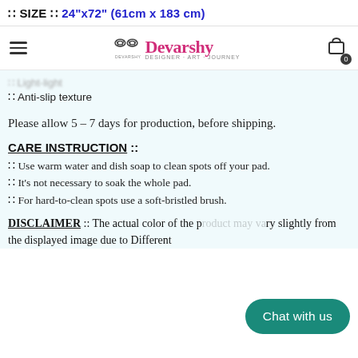:: SIZE :: 24"x72" (61cm x 183 cm)
[Figure (logo): Devarshy brand logo with decorative XO symbol and pink cursive brand name, hamburger menu icon and shopping cart icon with badge showing 0]
:: Light-light (blurred/partially visible)
:: Anti-slip texture
Please allow 5 – 7 days for production, before shipping.
CARE INSTRUCTION ::
:: Use warm water and dish soap to clean spots off your pad.
:: It's not necessary to soak the whole pad.
:: For hard-to-clean spots use a soft-bristled brush.
DISCLAIMER :: The actual color of the p... may vary slightly from the displayed image due to Different
Chat with us